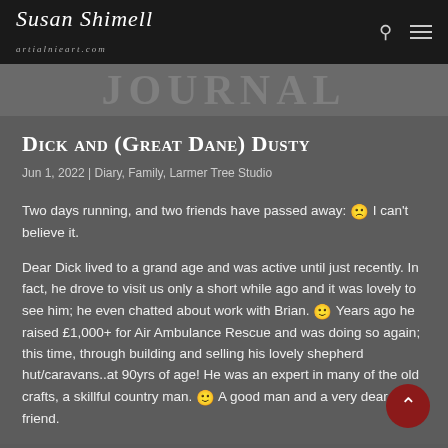Susan Shimell — header with logo, search, and menu icons
JOURNAL
Dick and (Great Dane) Dusty
Jun 1, 2022 | Diary, Family, Larmer Tree Studio
Two days running, and two friends have passed away: 🙁 I can't believe it.
Dear Dick lived to a grand age and was active until just recently. In fact, he drove to visit us only a short while ago and it was lovely to see him; he even chatted about work with Brian. 🙂 Years ago he raised £1,000+ for Air Ambulance Rescue and was doing so again; this time, through building and selling his lovely shepherd hut/caravans..at 90yrs of age! He was an expert in many of the old crafts, a skillful country man. 🙂 A good man and a very dear friend.